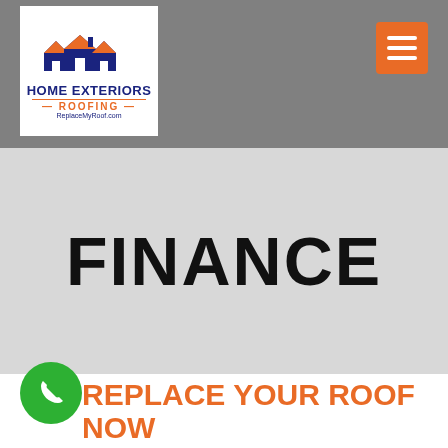[Figure (logo): Home Exteriors Roofing logo with roof/house graphic, text HOME EXTERIORS ROOFING and ReplaceMyRoof.com]
[Figure (other): Orange hamburger menu button (three white lines)]
FINANCE
[Figure (illustration): Green phone icon circle button]
REPLACE YOUR ROOF NOW AND PAY OVER TIME